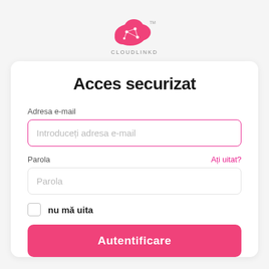[Figure (logo): CloudLinkD pink cloud logo with geometric network lines inside, with TM mark]
Acces securizat
Adresa e-mail
Introduceți adresa e-mail
Parola
Ați uitat?
Parola
nu mă uita
Autentificare